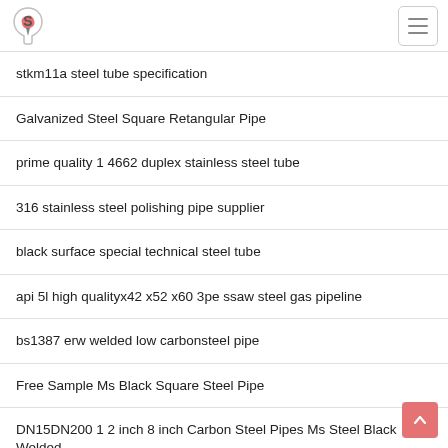stkm11a steel tube specification
Galvanized Steel Square Retangular Pipe
prime quality 1 4662 duplex stainless steel tube
316 stainless steel polishing pipe supplier
black surface special technical steel tube
api 5l high qualityx42 x52 x60 3pe ssaw steel gas pipeline
bs1387 erw welded low carbonsteel pipe
Free Sample Ms Black Square Steel Pipe
DN15DN200 1 2 inch 8 inch Carbon Steel Pipes Ms Steel Black Welded